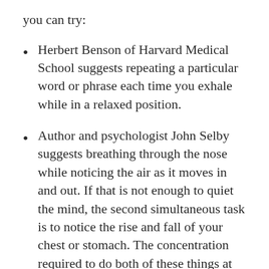you can try:
Herbert Benson of Harvard Medical School suggests repeating a particular word or phrase each time you exhale while in a relaxed position.
Author and psychologist John Selby suggests breathing through the nose while noticing the air as it moves in and out. If that is not enough to quiet the mind, the second simultaneous task is to notice the rise and fall of your chest or stomach. The concentration required to do both of these things at once makes other, more complex